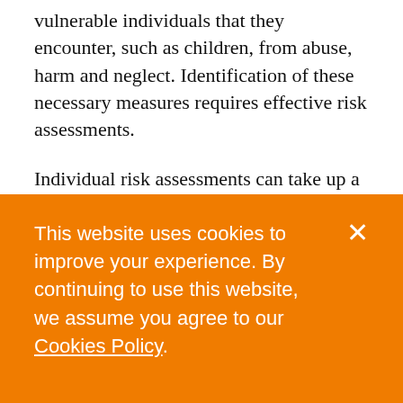vulnerable individuals that they encounter, such as children, from abuse, harm and neglect. Identification of these necessary measures requires effective risk assessments.
Individual risk assessments can take up a great deal of time and energy, so in many situations it is sensible and proportionate to rely on a statistically-sanctioned shortcut. We have a simple heuristic:
This website uses cookies to improve your experience. By continuing to use this website, we assume you agree to our Cookies Policy.